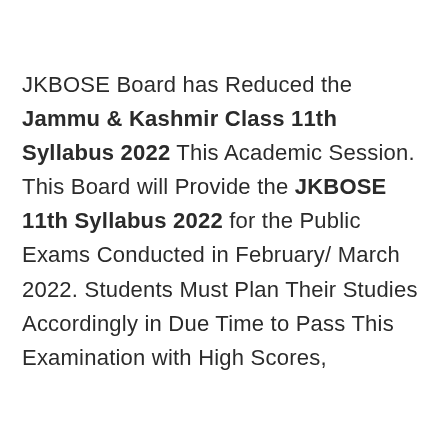JKBOSE Board has Reduced the Jammu & Kashmir Class 11th Syllabus 2022 This Academic Session. This Board will Provide the JKBOSE 11th Syllabus 2022 for the Public Exams Conducted in February/ March 2022. Students Must Plan Their Studies Accordingly in Due Time to Pass This Examination with High Scores,